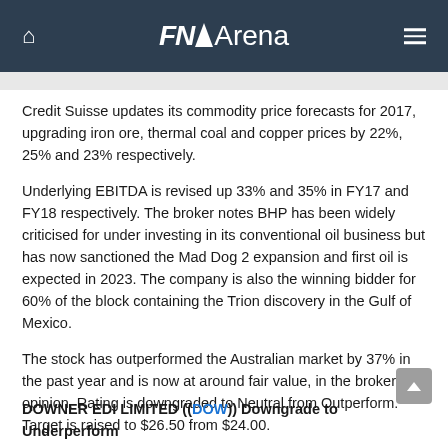FNArena
Credit Suisse updates its commodity price forecasts for 2017, upgrading iron ore, thermal coal and copper prices by 22%, 25% and 23% respectively.
Underlying EBITDA is revised up 33% and 35% in FY17 and FY18 respectively. The broker notes BHP has been widely criticised for under investing in its conventional oil business but has now sanctioned the Mad Dog 2 expansion and first oil is expected in 2023. The company is also the winning bidder for 60% of the block containing the Trion discovery in the Gulf of Mexico.
The stock has outperformed the Australian market by 37% in the past year and is now at around fair value, in the broker's opinion. Rating is downgraded to Neutral from Outperform. Target is raised to $26.50 from $24.00.
See also BHP upgrade.
DOWNER EDI LIMITED ((DOW)) Downgrade to Underperform